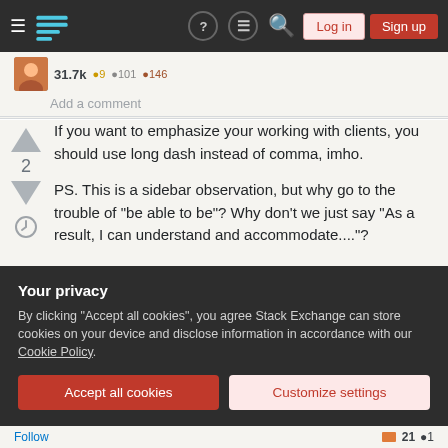Stack Exchange navigation bar with Log in and Sign up buttons
31.7k ●9 ●101 ●146
Add a comment
If you want to emphasize your working with clients, you should use long dash instead of comma, imho.

PS. This is a sidebar observation, but why go to the trouble of "be able to be"? Why don't we just say "As a result, I can understand and accommodate...."?

I understand sometimes "be able to" followed by a verb
Your privacy
By clicking "Accept all cookies", you agree Stack Exchange can store cookies on your device and disclose information in accordance with our Cookie Policy.
Accept all cookies
Customize settings
Follow